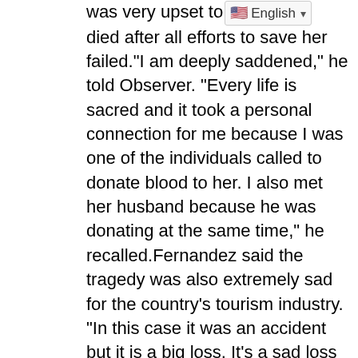was very upset to [English dropdown] died after all efforts to save her failed.“I am deeply saddened,” he told Observer. “Every life is sacred and it took a personal connection for me because I was one of the individuals called to donate blood to her. I also met her husband because he was donating at the same time,” he recalled.Fernandez said the tragedy was also extremely sad for the country’s tourism industry. “In this case it was an accident but it is a big loss. It’s a sad loss for the sector,” Fernandez said. The tourism minister said because of Covid-19 there are “more yachts than usual” in the area. Additionally, these vessels are docked closely together.

“The only advice is that we have to be very careful whether on water or on land,”